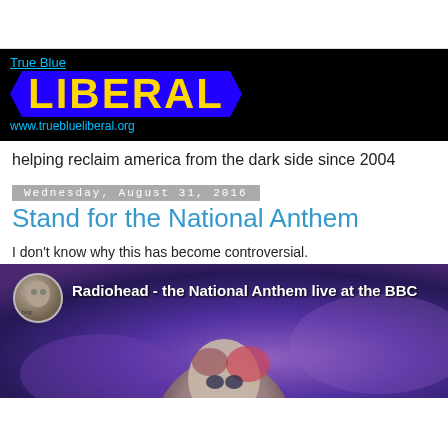[Figure (logo): True Blue Liberal website logo: black background, blue ribbon with yellow LIBERAL text, cyan URL www.trueblueliberal.org]
helping reclaim america from the dark side since 2004
Wednesday, August 31, 2016
Stand for the National Anthem
I don't know why this has become controversial.
[Figure (screenshot): YouTube video thumbnail: Radiohead - the National Anthem live at the BBC, with user avatar and dark purple stage background with performer's face]